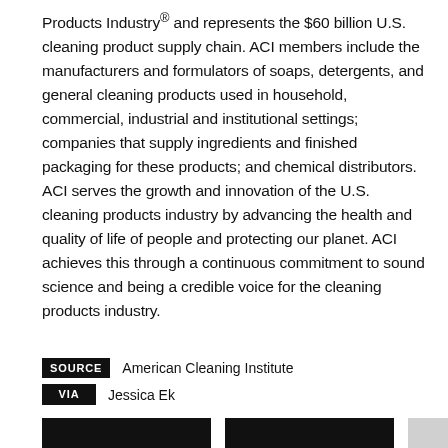Products Industry® and represents the $60 billion U.S. cleaning product supply chain. ACI members include the manufacturers and formulators of soaps, detergents, and general cleaning products used in household, commercial, industrial and institutional settings; companies that supply ingredients and finished packaging for these products; and chemical distributors. ACI serves the growth and innovation of the U.S. cleaning products industry by advancing the health and quality of life of people and protecting our planet. ACI achieves this through a continuous commitment to sound science and being a credible voice for the cleaning products industry.
SOURCE  American Cleaning Institute
VIA  Jessica Ek